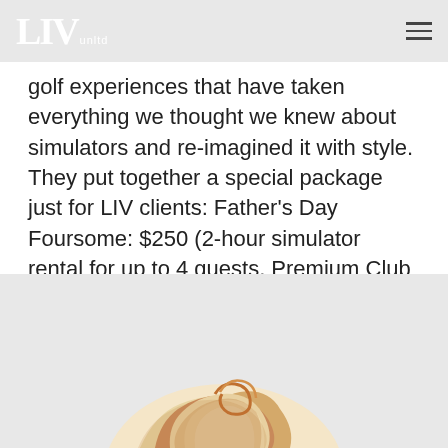LIV unltd
golf experiences that have taken everything we thought we knew about simulators and re-imagined it with style. They put together a special package just for LIV clients: Father's Day Foursome: $250 (2-hour simulator rental for up to 4 guests, Premium Club Rentals, Beer/Wine Open Bar).
Contact your concierge to book.
[Figure (photo): Partial image of a cream/caramel swirl or dessert item on a light gray background, cropped at the bottom of the page]